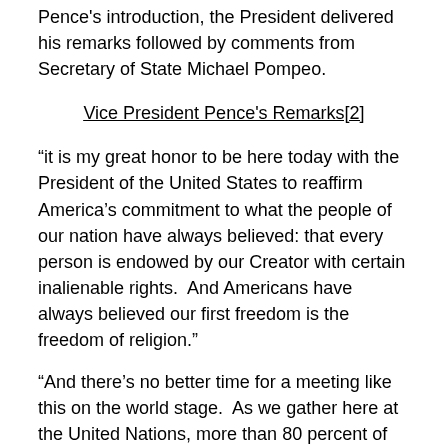Pence's introduction, the President delivered his remarks followed by comments from Secretary of State Michael Pompeo.
Vice President Pence's Remarks[2]
“it is my great honor to be here today with the President of the United States to reaffirm America’s commitment to what the people of our nation have always believed: that every person is endowed by our Creator with certain inalienable rights.  And Americans have always believed our first freedom is the freedom of religion.”
“And there’s no better time for a meeting like this on the world stage.  As we gather here at the United Nations, more than 80 percent of the world’s population live in nations where religious freedom is threatened or banned.”
“The regime in Iran brutally persecutes Christians, Sunnis,